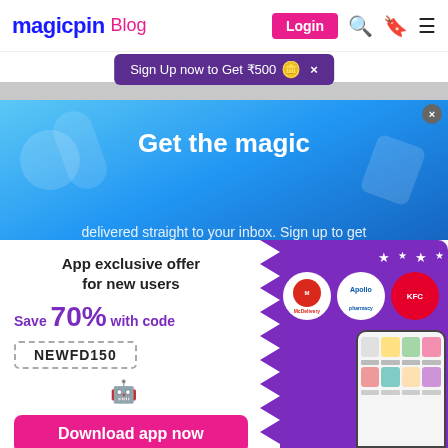magicpin Blog
Sign Up now to Get ₹500 🪙 ×
[Figure (screenshot): Magicpin blog website screenshot showing hero section with 'Get the magic' heading and app promotional card with 70% off offer for new users using code NEWFD150, McDelivery, Apollo, KFC brand logos, and Download app now button]
App exclusive offer for new users
Save 70% with code
NEWFD150
Download app now